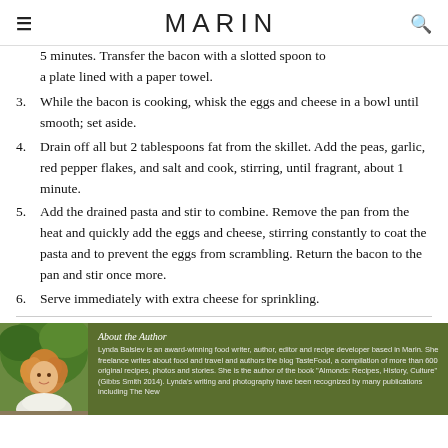MARIN
5 minutes. Transfer the bacon with a slotted spoon to a plate lined with a paper towel.
3. While the bacon is cooking, whisk the eggs and cheese in a bowl until smooth; set aside.
4. Drain off all but 2 tablespoons fat from the skillet. Add the peas, garlic, red pepper flakes, and salt and cook, stirring, until fragrant, about 1 minute.
5. Add the drained pasta and stir to combine. Remove the pan from the heat and quickly add the eggs and cheese, stirring constantly to coat the pasta and to prevent the eggs from scrambling. Return the bacon to the pan and stir once more.
6. Serve immediately with extra cheese for sprinkling.
About the Author
Lynda Balslev is an award-winning food writer, author, editor and recipe developer based in Marin. She freelance writes about food and travel and authors the blog TasteFood, a compilation of more than 600 original recipes, photos and stories. She is the author of the book "Almonds: Recipes, History, Culture" (Gibbs Smith 2014). Lynda's writing and photography have been recognized by many publications including The New